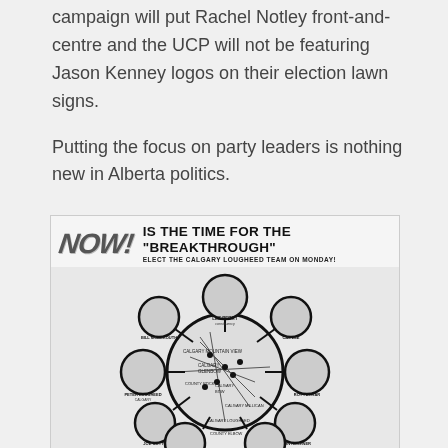campaign will put Rachel Notley front-and-centre and the UCP will not be featuring Jason Kenney logos on their election lawn signs.
Putting the focus on party leaders is nothing new in Alberta politics.
[Figure (illustration): A vintage political advertisement showing 'NOW! IS THE TIME FOR THE "BREAKTHROUGH"' with the subheading 'ELECT THE CALGARY LOUGHEED TEAM ON MONDAY!' The image features circular portrait photographs of multiple candidates arranged around a central map of Calgary constituencies, connected by lines in a spoke-and-hub design. Portraits include candidates labeled with names and constituency information.]